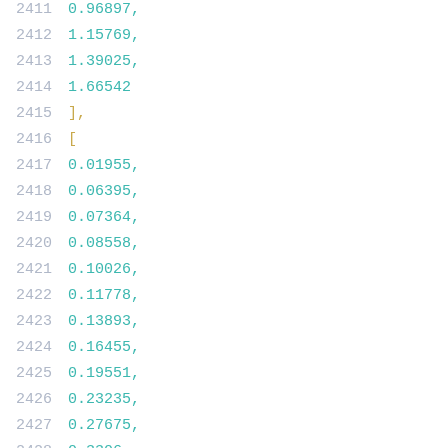2411    0.96897,
2412    1.15769,
2413    1.39025,
2414    1.66542
2415    ],
2416    [
2417    0.01955,
2418    0.06395,
2419    0.07364,
2420    0.08558,
2421    0.10026,
2422    0.11778,
2423    0.13893,
2424    0.16455,
2425    0.19551,
2426    0.23235,
2427    0.27675,
2428    0.3306,
2429    0.39404,
2430    0.4712,
2431    0.56314,
2432    0.67507,